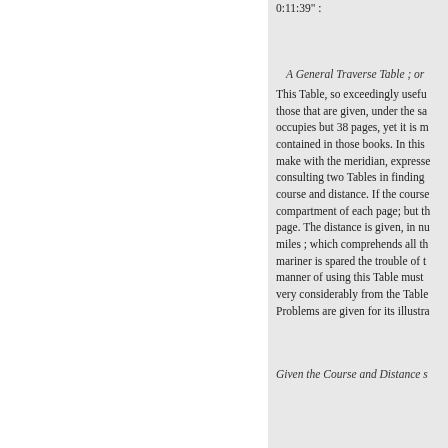0:11:39" :
A General Traverse Table ; or
This Table, so exceedingly useful those that are given, under the sa occupies but 38 pages, yet it is m contained in those books. In this make with the meridian, expresse consulting two Tables in finding course and distance. If the course compartment of each page; but th page. The distance is given, in nu miles ; which comprehends all th mariner is spared the trouble of t manner of using this Table must very considerably from the Table Problems are given for its illustra
Given the Course and Distance s